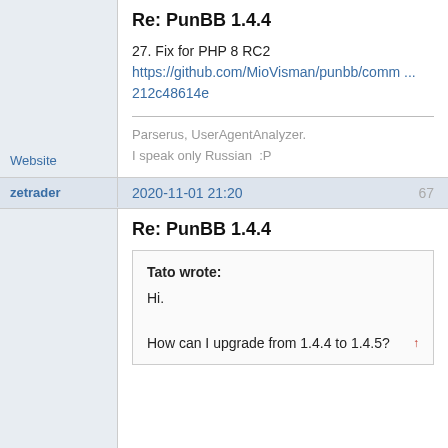Re: PunBB 1.4.4
27. Fix for PHP 8 RC2
https://github.com/MioVisman/punbb/comm ...
212c48614e
Parserus, UserAgentAnalyzer.
I speak only Russian :P
Website
zetrader
2020-11-01 21:20
67
Re: PunBB 1.4.4
Tato wrote:
Hi.
How can I upgrade from 1.4.4 to 1.4.5?